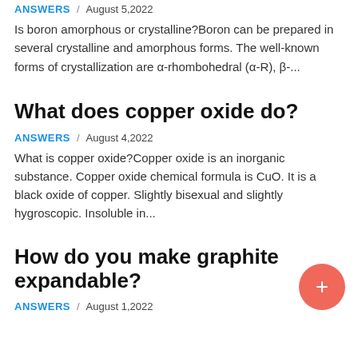ANSWERS / August 5,2022
Is boron amorphous or crystalline?Boron can be prepared in several crystalline and amorphous forms. The well-known forms of crystallization are α-rhombohedral (α-R), β-...
What does copper oxide do?
ANSWERS / August 4,2022
What is copper oxide?Copper oxide is an inorganic substance. Copper oxide chemical formula is CuO. It is a black oxide of copper. Slightly bisexual and slightly hygroscopic. Insoluble in...
How do you make graphite expandable?
ANSWERS / August 1,2022